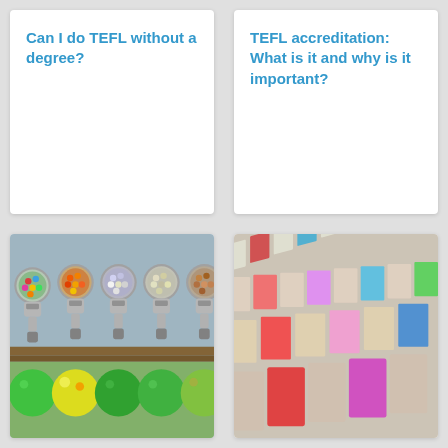Can I do TEFL without a degree?
TEFL accreditation: What is it and why is it important?
[Figure (photo): Row of colorful gumball/candy vending machines filled with various colored candies, with large gumballs on bottom row]
[Figure (photo): Rows of colorful framed tiles or books arranged in perspective, showing various colors including red, pink, blue, green, black]